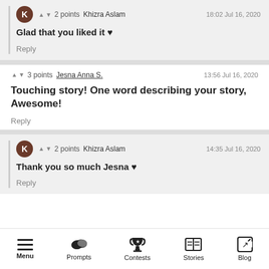K ▲ ▼ 2 points  Khizra Aslam  18:02 Jul 16, 2020
Glad that you liked it ♥
Reply
▲ ▼ 3 points  Jesna Anna S.  13:56 Jul 16, 2020
Touching story! One word describing your story, Awesome!
Reply
K ▲ ▼ 2 points  Khizra Aslam  14:35 Jul 16, 2020
Thank you so much Jesna ♥
Reply
Menu  Prompts  Contests  Stories  Blog